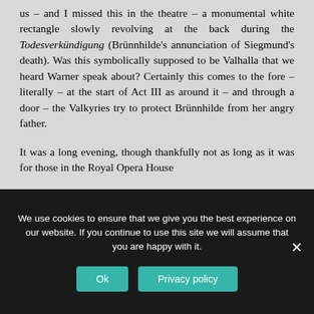us – and I missed this in the theatre – a monumental white rectangle slowly revolving at the back during the Todesverkündigung (Brünnhilde's annunciation of Siegmund's death). Was this symbolically supposed to be Valhalla that we heard Warner speak about? Certainly this comes to the fore – literally – at the start of Act III as around it – and through a door – the Valkyries try to protect Brünnhilde from her angry father.
It was a long evening, though thankfully not as long as it was for those in the Royal Opera House
We use cookies to ensure that we give you the best experience on our website. If you continue to use this site we will assume that you are happy with it.